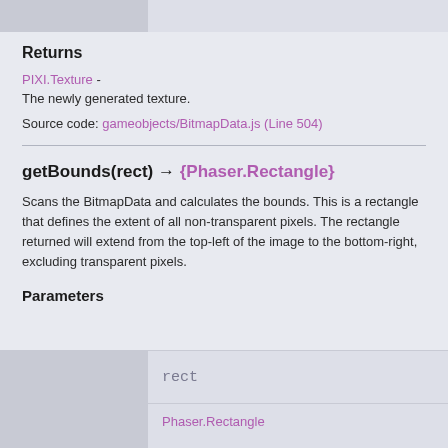Returns
PIXI.Texture -
The newly generated texture.
Source code: gameobjects/BitmapData.js (Line 504)
getBounds(rect) → {Phaser.Rectangle}
Scans the BitmapData and calculates the bounds. This is a rectangle that defines the extent of all non-transparent pixels. The rectangle returned will extend from the top-left of the image to the bottom-right, excluding transparent pixels.
Parameters
rect
Phaser.Rectangle